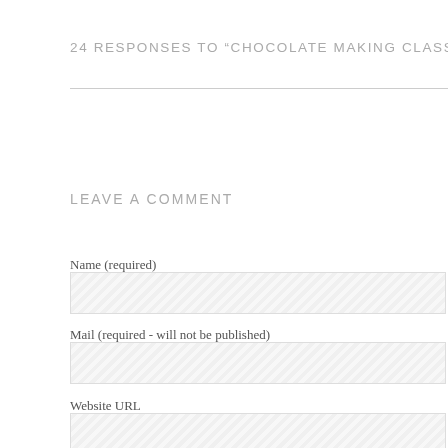24 RESPONSES TO “CHOCOLATE MAKING CLASS AT EH CHOCOLA…
LEAVE A COMMENT
Name (required)
Mail (required - will not be published)
Website URL
Comment